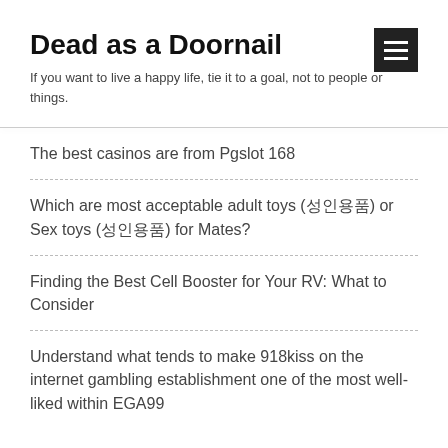Dead as a Doornail
If you want to live a happy life, tie it to a goal, not to people or things.
The best casinos are from Pgslot 168
Which are most acceptable adult toys (성인용품) or Sex toys (성인용품) for Mates?
Finding the Best Cell Booster for Your RV: What to Consider
Understand what tends to make 918kiss on the internet gambling establishment one of the most well-liked within EGA99